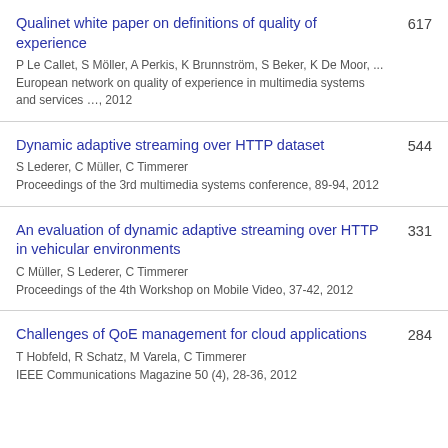Qualinet white paper on definitions of quality of experience | P Le Callet, S Möller, A Perkis, K Brunnström, S Beker, K De Moor, ... | European network on quality of experience in multimedia systems and services …, 2012 | 617
Dynamic adaptive streaming over HTTP dataset | S Lederer, C Müller, C Timmerer | Proceedings of the 3rd multimedia systems conference, 89-94, 2012 | 544
An evaluation of dynamic adaptive streaming over HTTP in vehicular environments | C Müller, S Lederer, C Timmerer | Proceedings of the 4th Workshop on Mobile Video, 37-42, 2012 | 331
Challenges of QoE management for cloud applications | T Hobfeld, R Schatz, M Varela, C Timmerer | IEEE Communications Magazine 50 (4), 28-36, 2012 | 284